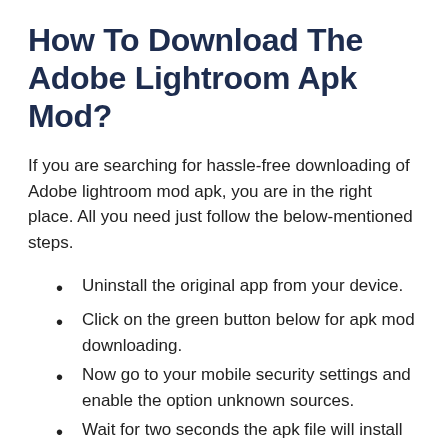How To Download The Adobe Lightroom Apk Mod?
If you are searching for hassle-free downloading of Adobe lightroom mod apk, you are in the right place. All you need just follow the below-mentioned steps.
Uninstall the original app from your device.
Click on the green button below for apk mod downloading.
Now go to your mobile security settings and enable the option unknown sources.
Wait for two seconds the apk file will install on your device.
After complete installation, enjoy your